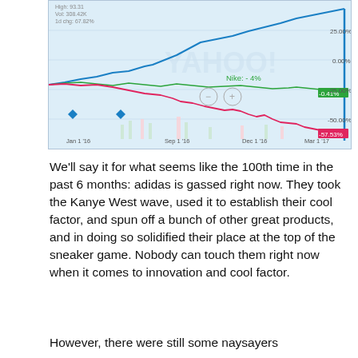[Figure (line-chart): Yahoo Finance stock comparison chart]
We'll say it for what seems like the 100th time in the past 6 months: adidas is gassed right now. They took the Kanye West wave, used it to establish their cool factor, and spun off a bunch of other great products, and in doing so solidified their place at the top of the sneaker game. Nobody can touch them right now when it comes to innovation and cool factor.
However, there were still some naysayers